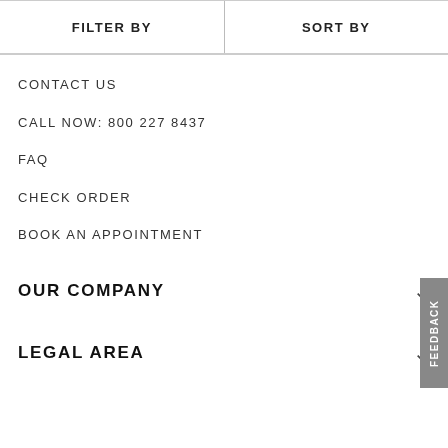FILTER BY | SORT BY
CONTACT US
CALL NOW: 800 227 8437
FAQ
CHECK ORDER
BOOK AN APPOINTMENT
OUR COMPANY
LEGAL AREA